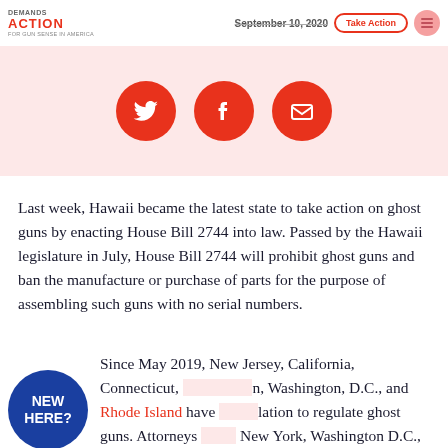DEMANDS ACTION FOR GUN SENSE IN AMERICA | September 10, 2020 | Take Action
[Figure (infographic): Three red circular social share buttons: Twitter bird icon, Facebook f icon, and email envelope icon on a light pink background strip]
Last week, Hawaii became the latest state to take action on ghost guns by enacting House Bill 2744 into law. Passed by the Hawaii legislature in July, House Bill 2744 will prohibit ghost guns and ban the manufacture or purchase of parts for the purpose of assembling such guns with no serial numbers.
Since May 2019, New Jersey, California, Connecticut, [Nevada], Washington, D.C., and Rhode Island have [passed legis]lation to regulate ghost guns. Attorneys [General in] New York, Washington D.C., and Pennsylvania have also taken action on ghost guns. The New York
[Figure (illustration): Dark blue circular badge with white bold text reading NEW HERE?]